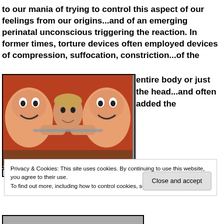to our mania of trying to control this aspect of our feelings from our origins...and of an emerging perinatal unconscious triggering the reaction. In former times, torture devices often employed devices of compression, suffocation, constriction...of the entire body or just the head...and often added the
[Figure (photo): A man being squeezed from both sides by large decorative mask/puppet faces, appearing to be from a film scene with orange/red background.]
Privacy & Cookies: This site uses cookies. By continuing to use this website, you agree to their use.
To find out more, including how to control cookies, see here: Cookie Policy
Close and accept